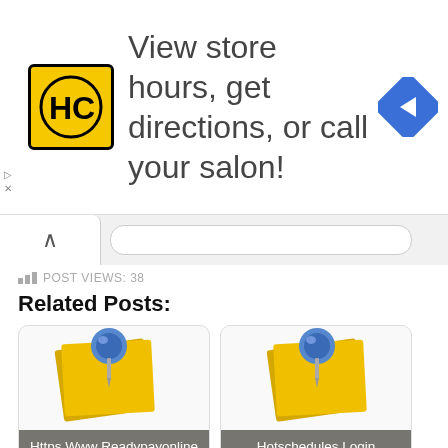[Figure (screenshot): Ad banner with HC logo, text 'View store hours, get directions, or call your salon!' and a blue navigation arrow icon]
POST VIEWS: 38
Related Posts:
[Figure (screenshot): Related post card with blue pushpin and sticky note: 'Https Www Readypayonline Com Employee Login Login Aspx']
[Figure (screenshot): Related post card with blue pushpin and sticky note: 'Hotschedules Login Employee Hot Schedule Login']
[Figure (screenshot): Related post card with blue pushpin and sticky note (partially visible)]
[Figure (screenshot): Related post card with blue pushpin and sticky note (partially visible)]